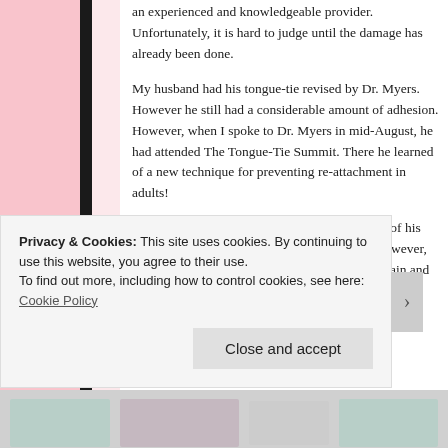an experienced and knowledgeable provider. Unfortunately, it is hard to judge until the damage has already been done.
My husband had his tongue-tie revised by Dr. Myers. However he still had a considerable amount of adhesion. However, when I spoke to Dr. Myers in mid-August, he had attended The Tongue-Tie Summit. There he learned of a new technique for preventing re-attachment in adults!
It is a series of exercises that lift the tongue out of his mouth. I have little knowledge of this so far. However, my husband plans to have his tongue revised again and see the therapist to learn these exercises to prevent tongue-tie.
Reply
Privacy & Cookies: This site uses cookies. By continuing to use this website, you agree to their use.
To find out more, including how to control cookies, see here: Cookie Policy
Close and accept